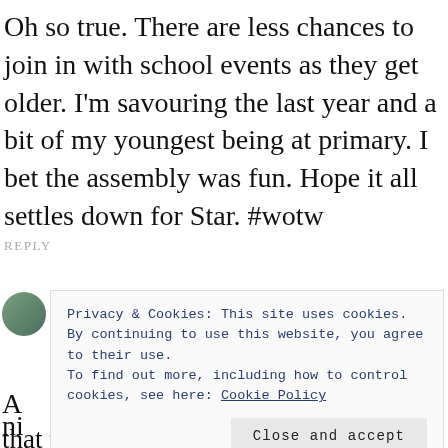Oh so true. There are less chances to join in with school events as they get older. I'm savouring the last year and a bit of my youngest being at primary. I bet the assembly was fun. Hope it all settles down for Star. #wotw
REPLY
Privacy & Cookies: This site uses cookies. By continuing to use this website, you agree to their use.
To find out more, including how to control cookies, see here: Cookie Policy
Close and accept
A
ni
that things settle oown.